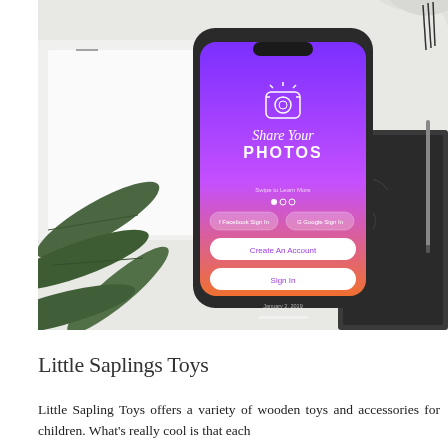[Figure (photo): A smartphone displaying a photo-sharing app screen with purple-to-orange gradient background, showing 'Share Your Photos' text and a camera icon, with social login buttons and 'Create An Account' and 'Sign In' buttons. The phone is lying on a white surface surrounded by green leaves and a dark notebook.]
Little Saplings Toys
Little Sapling Toys offers a variety of wooden toys and accessories for children. What's really cool is that each